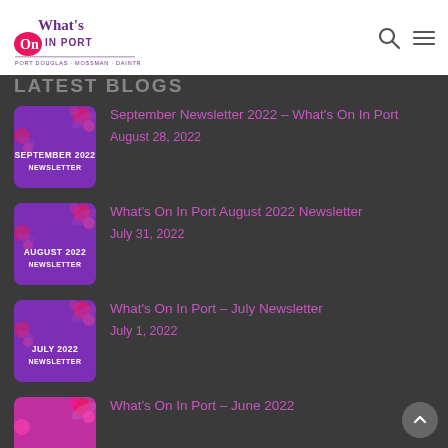What's On In Port — Navigation bar with logo and search/menu icons
LATEST BLOGS
[Figure (illustration): September 2022 Newsletter thumbnail — purple background with pink floral decorations and white text]
September Newsletter 2022 – What's On In Port
August 28, 2022
[Figure (illustration): August 2022 Newsletter thumbnail — purple background with pink floral decorations and white text]
What's On In Port August 2022 Newsletter
July 31, 2022
[Figure (illustration): July 2022 Newsletter thumbnail — purple background with pink floral decorations and white text]
What's On In Port – July Newsletter
July 1, 2022
[Figure (illustration): June 2022 Newsletter thumbnail — purple background with pink floral decorations (partially visible)]
What's On In Port – June 2022